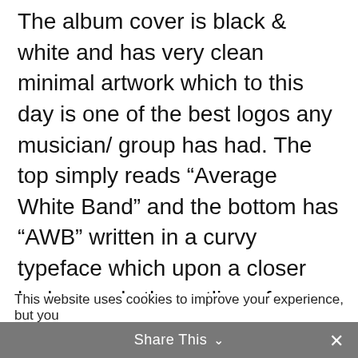The album cover is black & white and has very clean minimal artwork which to this day is one of the best logos any musician/ group has had. The top simply reads “Average White Band” and the bottom has “AWB” written in a curvy typeface which upon a closer look reveals the outline of woman with her back turned and her posterior resting in the “W.”
This website uses cookies to improve your experience, but you
Share This ∨ ×